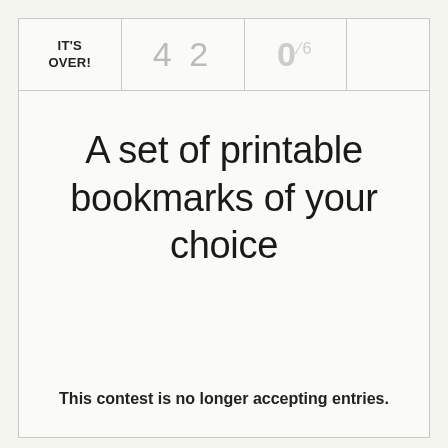IT'S OVER! | 42 | 0/6
A set of printable bookmarks of your choice
This contest is no longer accepting entries.